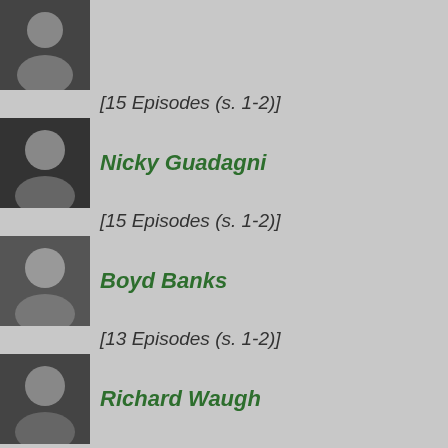[Figure (photo): Thumbnail photo of a person (partial, top of page)]
[15 Episodes (s. 1-2)]
[Figure (photo): Thumbnail photo of Nicky Guadagni]
Nicky Guadagni
[15 Episodes (s. 1-2)]
[Figure (photo): Thumbnail photo of Boyd Banks]
Boyd Banks
[13 Episodes (s. 1-2)]
[Figure (photo): Thumbnail photo of Richard Waugh]
Richard Waugh
[13 Episodes (s. 1-2)]
[Figure (photo): Thumbnail photo of Trent Mcmullen]
Trent Mcmullen
[13 Episodes (s. 1-2)]
[Figure (photo): Thumbnail photo of Christine Brubaker]
Christine Brubaker
[13 Episodes (s. 1-2)]
[Figure (photo): Thumbnail photo of Fulvio Cecere (partial, bottom of page)]
Fulvio Cecere